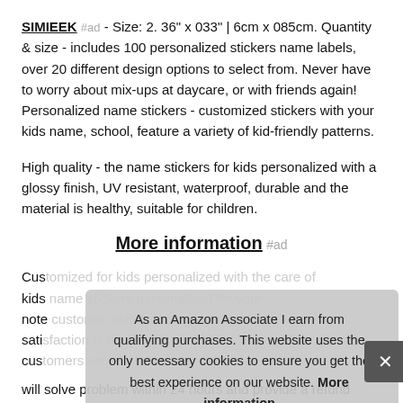SIMIEEK #ad - Size: 2. 36" x 033" | 6cm x 085cm. Quantity & size - includes 100 personalized stickers name labels, over 20 different design options to select from. Never have to worry about mix-ups at daycare, or with friends again! Personalized name stickers - customized stickers with your kids name, school, feature a variety of kid-friendly patterns.
High quality - the name stickers for kids personalized with a glossy finish, UV resistant, waterproof, durable and the material is healthy, suitable for children.
More information #ad
Cust... kids... note... sati... cust... will solve problem within 24 hours and provide a refund
As an Amazon Associate I earn from qualifying purchases. This website uses the only necessary cookies to ensure you get the best experience on our website. More information